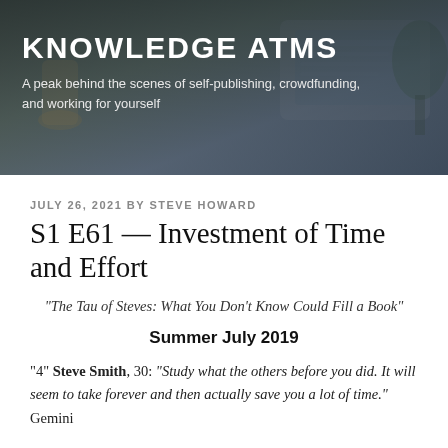[Figure (photo): Blog header banner with dark overlay showing a laptop/tablet and desk scene. Text reads KNOWLEDGE ATMS with subtitle about self-publishing, crowdfunding, and working for yourself.]
KNOWLEDGE ATMS
A peak behind the scenes of self-publishing, crowdfunding, and working for yourself
JULY 26, 2021 BY STEVE HOWARD
S1 E61 — Investment of Time and Effort
"The Tau of Steves: What You Don't Know Could Fill a Book"
Summer July 2019
"4"  Steve Smith, 30: "Study what the others before you did.  It will seem to take forever and then actually save you a lot of time." Gemini